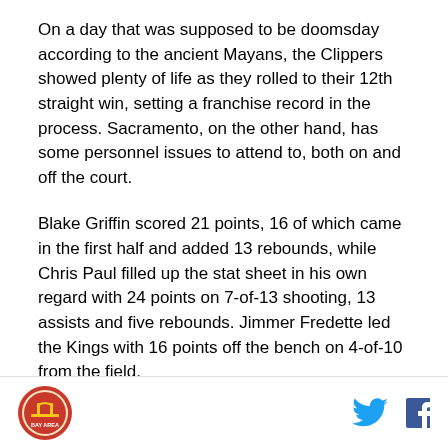On a day that was supposed to be doomsday according to the ancient Mayans, the Clippers showed plenty of life as they rolled to their 12th straight win, setting a franchise record in the process. Sacramento, on the other hand, has some personnel issues to attend to, both on and off the court.
Blake Griffin scored 21 points, 16 of which came in the first half and added 13 rebounds, while Chris Paul filled up the stat sheet in his own regard with 24 points on 7-of-13 shooting, 13 assists and five rebounds. Jimmer Fredette led the Kings with 16 points off the bench on 4-of-10 from the field.
Kings head coach Keith Smart benched DeMarcus
Bay Area logo, Twitter icon, Facebook icon